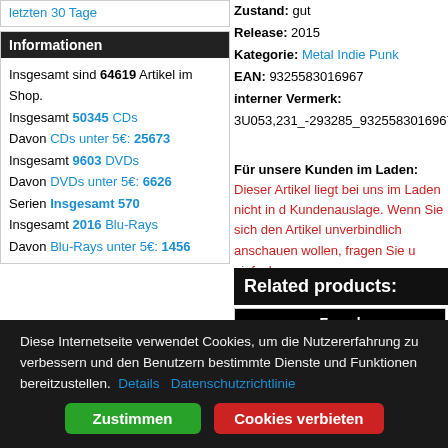letzten 30 Tage
Informationen
Insgesamt sind 64619 Artikel im Shop.
Insgesamt 50345 CDs
Davon CDs unter 5€: 25673
Insgesamt 9603 DVDs
Davon DVDs unter 5€: 6626
Serien Insgesamt 570
Insgesamt 2016 Blu-Rays
Davon Blu-Rays unter 5€: 1456
Zustand: gut
Release: 2015
Kategorie: Metal Indie Punk
EAN: 9325583016967
interner Vermerk:
3U053,231_-293285_9325583016967
Für unsere Kunden im Laden:
Dieser Artikel liegt bei uns im Laden nicht in der Kundenauslage. Wenn Sie sich den Artikel unverbindlich anschauen wollen, fragen Sie uns einfach.
Related products:
[Figure (photo): Album cover for 'Fused' showing a person standing in front of blue panels, with 'fused' text visible at top.]
Diese Internetseite verwendet Cookies, um die Nutzererfahrung zu verbessern und den Benutzern bestimmte Dienste und Funktionen bereitzustellen.  Details   Datenschutzrichtlinie